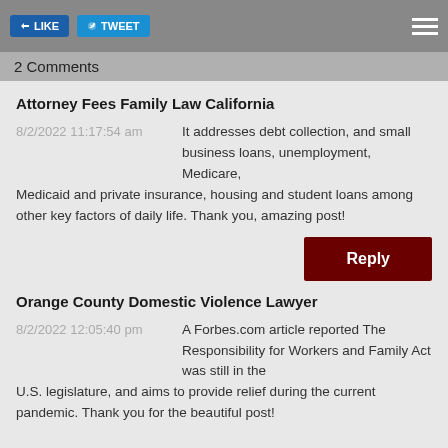2 Comments
Attorney Fees Family Law California
8/2/2022 11:17:54 am — It addresses debt collection, and small business loans, unemployment, Medicare, Medicaid and private insurance, housing and student loans among other key factors of daily life. Thank you, amazing post!
Orange County Domestic Violence Lawyer
8/2/2022 12:05:40 pm — A Forbes.com article reported The Responsibility for Workers and Family Act was still in the U.S. legislature, and aims to provide relief during the current pandemic. Thank you for the beautiful post!